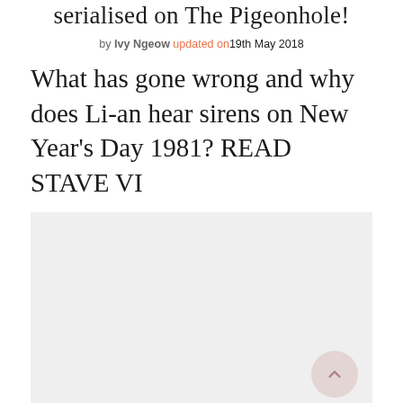serialised on The Pigeonhole!
by Ivy Ngeow updated on 19th May 2018
What has gone wrong and why does Li-an hear sirens on New Year's Day 1981? READ STAVE VI
[Figure (other): Light grey rectangular placeholder image area with a scroll-to-top button (circular, pinkish-grey) in the bottom right corner]